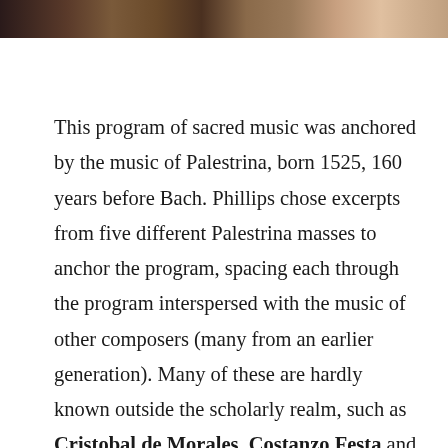[Figure (photo): A cropped photograph of people or performers, showing a dark banner/strip at the top of the page]
This program of sacred music was anchored by the music of Palestrina, born 1525, 160 years before Bach. Phillips chose excerpts from five different Palestrina masses to anchor the program, spacing each through the program interspersed with the music of other composers (many from an earlier generation). Many of these are hardly known outside the scholarly realm, such as Cristobal de Morales, Costanzo Festa and Elzea Genet Carpentras, largely because the Papacy chose to prevent any dissemination of much of the Sistine Chapel's music. Two composers in the second half of the program are better known: France's Josquin des Prez, the earliest composer